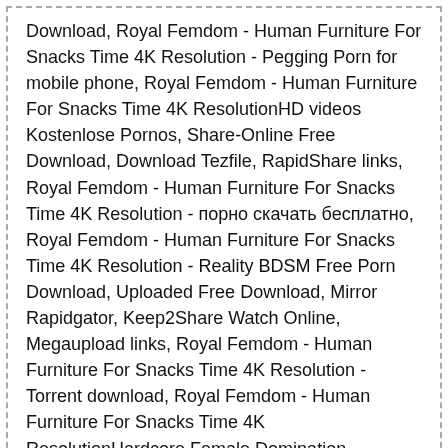Download, Royal Femdom - Human Furniture For Snacks Time 4K Resolution - Pegging Porn for mobile phone, Royal Femdom - Human Furniture For Snacks Time 4K ResolutionHD videos Kostenlose Pornos, Share-Online Free Download, Download Tezfile, RapidShare links, Royal Femdom - Human Furniture For Snacks Time 4K Resolution - порно скачать бесплатно, Royal Femdom - Human Furniture For Snacks Time 4K Resolution - Reality BDSM Free Porn Download, Uploaded Free Download, Mirror Rapidgator, Keep2Share Watch Online, Megaupload links, Royal Femdom - Human Furniture For Snacks Time 4K Resolution - Torrent download, Royal Femdom - Human Furniture For Snacks Time 4K ResolutionHardcore Female Domination Kostenlose Pornos, Uploadrocket Free Download, Royal Femdom - Human Furniture For Snacks Time 4K Resolution - Lesbian Domination Porn download, Royal Femdom - Human Furniture For Snacks